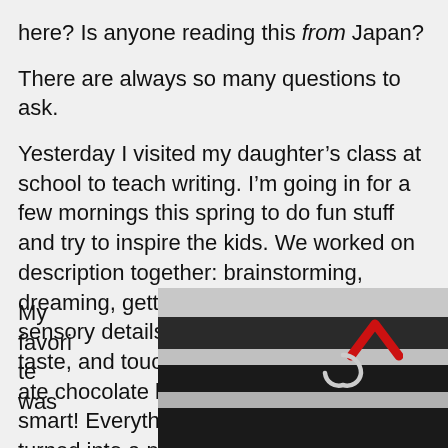here? Is anyone reading this from Japan?
There are always so many questions to ask.
Yesterday I visited my daughter’s class at school to teach writing. I’m going in for a few mornings this spring to do fun stuff and try to inspire the kids. We worked on description together: brainstorming, dreaming, getting our heads chock full of sensory details like sight, sound, smell, taste, and touch. We listened to music; ate chocolate kisses. The kids were so smart! Everything we described together turned into a poem.
My favorite was
[Figure (photo): A close-up photo of what appears to be a classroom projector or electronic device, with a red chevron/arrow symbol and a hook or clip visible.]